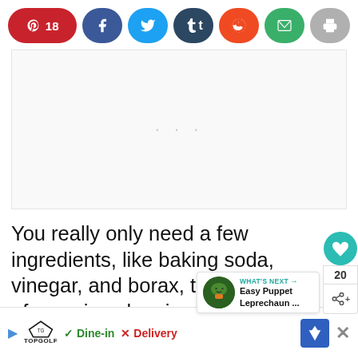[Figure (screenshot): Social share bar with Pinterest (18), Facebook, Twitter, Tumblr, Reddit, Email, and Print buttons]
[Figure (screenshot): Advertisement placeholder box with three dots]
You really only need a few ingredients, like baking soda, vinegar, and borax, to variety of amazing cleaning solutions without
[Figure (screenshot): What's Next widget showing Easy Puppet Leprechaun article thumbnail]
[Figure (screenshot): Bottom advertisement banner for Topgolf showing Dine-in and Delivery options]